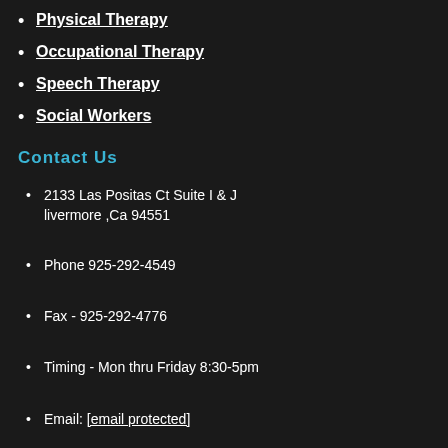Physical Therapy
Occupational Therapy
Speech Therapy
Social Workers
Contact Us
2133 Las Positas Ct Suite I & J livermore ,Ca 94551
Phone 925-292-4549
Fax - 925-292-4776
Timing - Mon thru Friday 8:30-5pm
Email: [email protected]